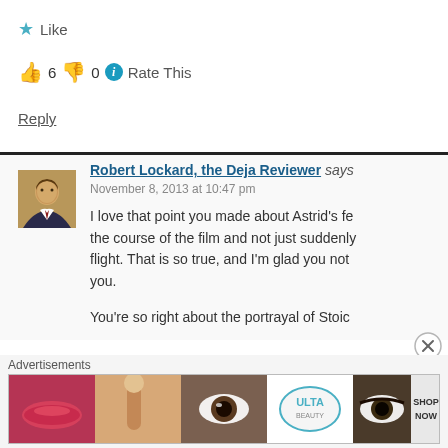★ Like
👍 6 👎 0 ℹ Rate This
Reply
[Figure (photo): Avatar photo of Robert Lockard, a man in a suit]
Robert Lockard, the Deja Reviewer says
November 8, 2013 at 10:47 pm
I love that point you made about Astrid's fe the course of the film and not just suddenly flight. That is so true, and I'm glad you not you.
You're so right about the portrayal of Stoic
Advertisements
[Figure (photo): Beauty advertisement banner showing makeup products and faces with ULTA branding and SHOP NOW text]